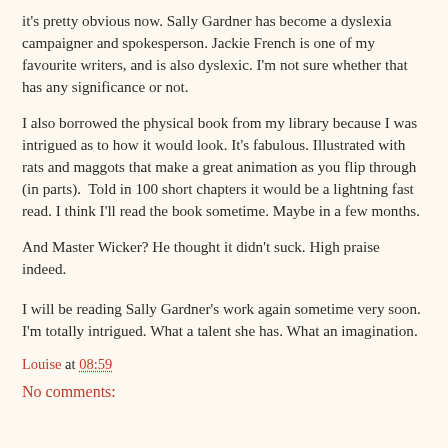it's pretty obvious now. Sally Gardner has become a dyslexia campaigner and spokesperson. Jackie French is one of my favourite writers, and is also dyslexic. I'm not sure whether that has any significance or not.
I also borrowed the physical book from my library because I was intrigued as to how it would look. It's fabulous. Illustrated with rats and maggots that make a great animation as you flip through (in parts).  Told in 100 short chapters it would be a lightning fast read. I think I'll read the book sometime. Maybe in a few months.
And Master Wicker? He thought it didn't suck. High praise indeed.
I will be reading Sally Gardner's work again sometime very soon. I'm totally intrigued. What a talent she has. What an imagination.
Louise at 08:59
No comments: